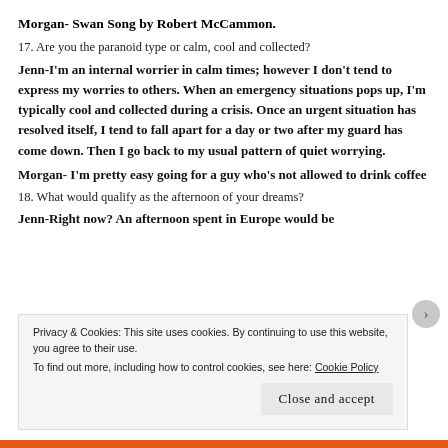Morgan- Swan Song by Robert McCammon.
17. Are you the paranoid type or calm, cool and collected?
Jenn-I'm an internal worrier in calm times; however I don't tend to express my worries to others. When an emergency situations pops up, I'm typically cool and collected during a crisis. Once an urgent situation has resolved itself, I tend to fall apart for a day or two after my guard has come down. Then I go back to my usual pattern of quiet worrying.
Morgan- I'm pretty easy going for a guy who's not allowed to drink coffee
18. What would qualify as the afternoon of your dreams?
Jenn-Right now? An afternoon spent in Europe would be
Privacy & Cookies: This site uses cookies. By continuing to use this website, you agree to their use.
To find out more, including how to control cookies, see here: Cookie Policy
Close and accept